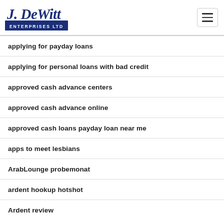[Figure (logo): J. DeWitt Enterprises Ltd logo - blue cursive and block text]
applying for payday loans
applying for personal loans with bad credit
approved cash advance centers
approved cash advance online
approved cash loans payday loan near me
apps to meet lesbians
ArabLounge probemonat
ardent hookup hotshot
Ardent review